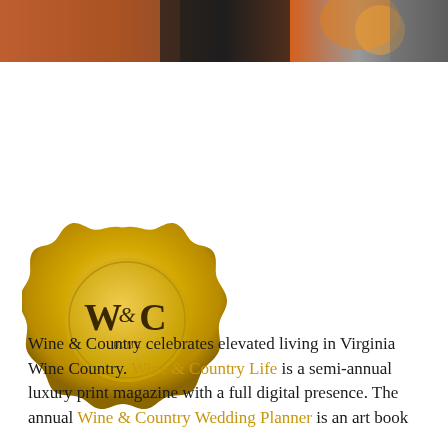[Figure (photo): Partial photo strip at top showing people near a fireplace/bar area with warm wood tones and flame light]
[Figure (logo): Gold wax seal logo with 'W&C' monogram text in the center and decorative wavy edges, all in golden yellow tones]
Wine & Country celebrates elevated living in Virginia Wine Country. Wine & Country Life is a semi-annual luxury print magazine with a full digital presence. The annual Wine & Country Wedding Planner is an art book